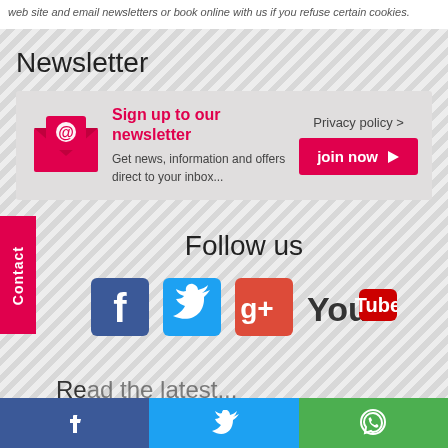website and email newsletters or book online with us if you refuse certain cookies.
Newsletter
Sign up to our newsletter
Get news, information and offers direct to your inbox...
Privacy policy >
join now
Follow us
[Figure (infographic): Social media icons: Facebook (blue), Twitter (blue bird), Google+ (red), YouTube (red)]
Contact
Facebook share | Twitter tweet | WhatsApp